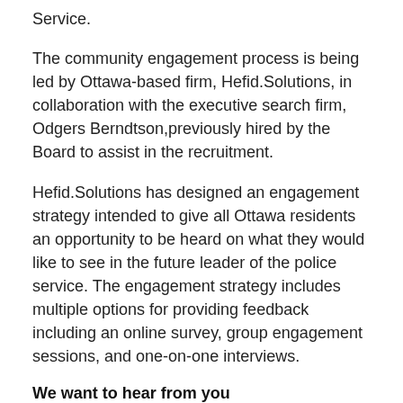Service.
The community engagement process is being led by Ottawa-based firm, Hefid.Solutions, in collaboration with the executive search firm, Odgers Berndtson,previously hired by the Board to assist in the recruitment.
Hefid.Solutions has designed an engagement strategy intended to give all Ottawa residents an opportunity to be heard on what they would like to see in the future leader of the police service. The engagement strategy includes multiple options for providing feedback including an online survey, group engagement sessions, and one-on-one interviews.
We want to hear from you
To complete the survey, you can use the